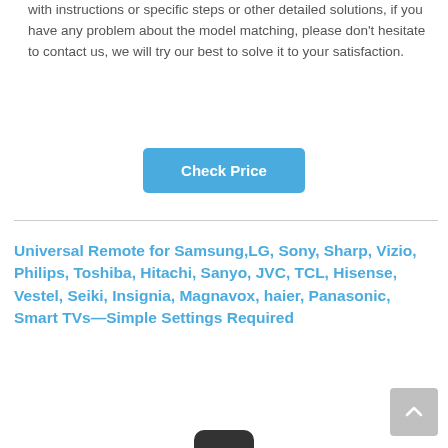with instructions or specific steps or other detailed solutions, if you have any problem about the model matching, please don't hesitate to contact us, we will try our best to solve it to your satisfaction.
[Figure (other): Blue 'Check Price' button]
Universal Remote for Samsung,LG, Sony, Sharp, Vizio, Philips, Toshiba, Hitachi, Sanyo, JVC, TCL, Hisense, Vestel, Seiki, Insignia, Magnavox, haier, Panasonic, Smart TVs—Simple Settings Required